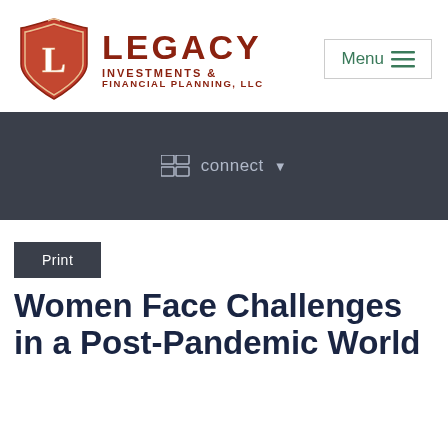[Figure (logo): Legacy Investments & Financial Planning LLC logo with ornate shield bearing the letter L in dark red/brown]
LEGACY INVESTMENTS & FINANCIAL PLANNING, LLC
Menu ☰
connect ▼
Print
Women Face Challenges in a Post-Pandemic World